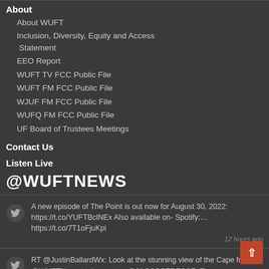About
About WUFT
Inclusion, Diversity, Equity and Access Statement
EEO Report
WUFT TV FCC Public File
WUFT FM FCC Public File
WJUF FM FCC Public File
WUFQ FM FCC Public File
UF Board of Trustees Meetings
Contact Us
Listen Live
@WUFTNEWS
A new episode of The Point is out now for August 30, 2022: https://t.co/YUFTBclNEx Also available on- Spotify:… https://t.co/7T1oFjuKpi 12 hours ago
RT @JustinBallardWx: Look at the stunning view of the Cape from @WUFTNews tech reporter, @JACOBSEDESSE. The @NASAArtemis launch window open… 2022-08-31